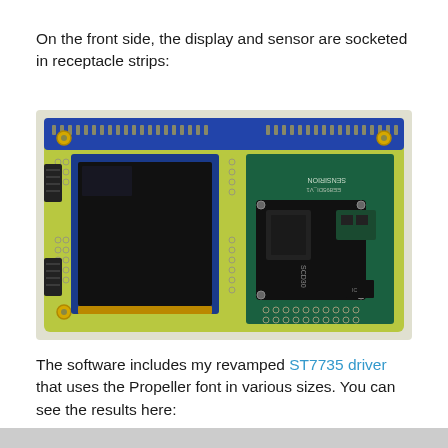On the front side, the display and sensor are socketed in receptacle strips:
[Figure (photo): Photograph of the front side of a PCB board showing a TFT display socketed on the left half and a Sensirion SCD30 CO2 sensor module socketed on the right half, with through-hole receptacle strips and header pins visible.]
The software includes my revamped ST7735 driver that uses the Propeller font in various sizes. You can see the results here: